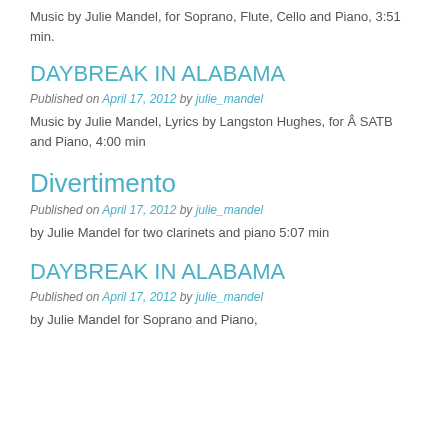Music by Julie Mandel, for Soprano, Flute, Cello and Piano, 3:51 min.
DAYBREAK IN ALABAMA
Published on April 17, 2012 by julie_mandel
Music by Julie Mandel, Lyrics by Langston Hughes, for Â SATB and Piano, 4:00 min
Divertimento
Published on April 17, 2012 by julie_mandel
by Julie Mandel for two clarinets and piano 5:07 min
DAYBREAK IN ALABAMA
Published on April 17, 2012 by julie_mandel
by Julie Mandel for Soprano and Piano,